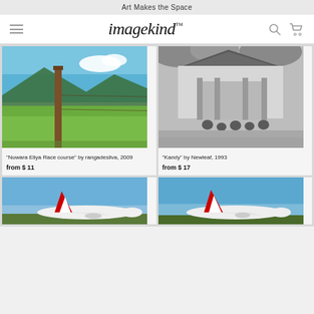Art Makes the Space
imagekind
[Figure (photo): Color photograph of a wooden fence post in a green field with mountains and blue sky in the background]
"Nuwara Eliya Race course" by rangadesilva, 2009
from $ 11
[Figure (photo): Black and white photograph of a traditional Asian building with people sitting in front]
"Kandy" by Newleaf, 1993
from $ 17
[Figure (photo): Color photograph of a Qatar Airways airplane tail on a runway with blue sky]
[Figure (photo): Color photograph of a Qatar Airways airplane tail on a runway with blue sky, similar angle]